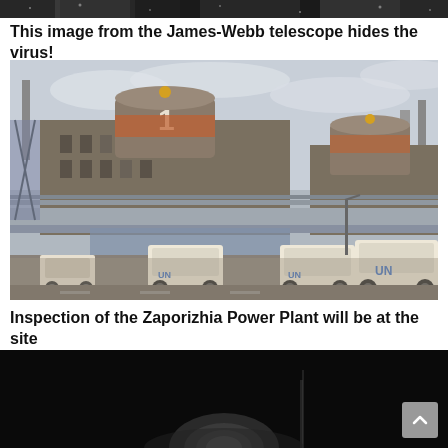[Figure (photo): Dark banner/strip at top of page, appears to be a space or night sky image strip]
This image from the James-Webb telescope hides the virus!
[Figure (photo): UN vehicles (white SUVs with UN markings) parked in front of the Zaporizhia Nuclear Power Plant building]
Inspection of the Zaporizhia Power Plant will be at the site
[Figure (photo): Dark image partially visible at bottom, appears to show a metallic object or lens on black background]